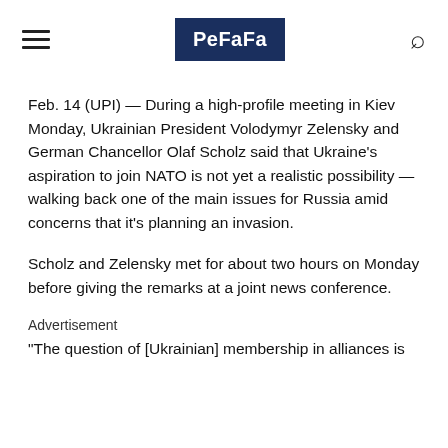PeFaFa
Feb. 14 (UPI) — During a high-profile meeting in Kiev Monday, Ukrainian President Volodymyr Zelensky and German Chancellor Olaf Scholz said that Ukraine's aspiration to join NATO is not yet a realistic possibility — walking back one of the main issues for Russia amid concerns that it's planning an invasion.
Scholz and Zelensky met for about two hours on Monday before giving the remarks at a joint news conference.
Advertisement
"The question of [Ukrainian] membership in alliances is